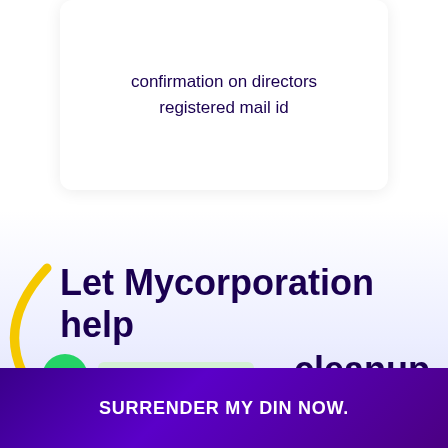confirmation on directors registered mail id
Let Mycorporation help cleanup
[Figure (other): WhatsApp chat button (green circle with phone icon)]
Questions? Let's Chat
SURRENDER MY DIN NOW.